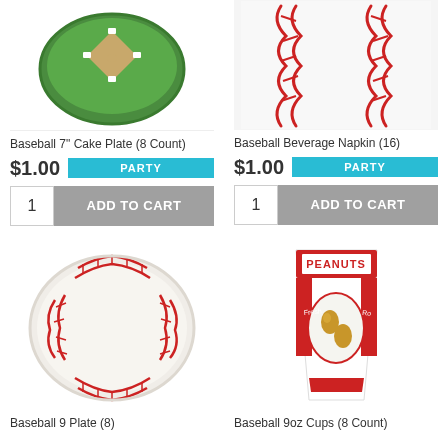[Figure (photo): Baseball 7 inch cake plate product image showing a baseball-themed green plate from above]
[Figure (photo): Baseball Beverage Napkin product image showing red stitching on white napkin background]
Baseball 7" Cake Plate (8 Count)
Baseball Beverage Napkin (16)
$1.00
PARTY
$1.00
PARTY
1
ADD TO CART
1
ADD TO CART
[Figure (photo): Baseball 9 inch plate product image showing a round paper plate designed to look like a baseball with red stitching]
[Figure (photo): Baseball 9oz Cups product image showing a cup with PEANUTS text and peanut illustration in red and gold]
Baseball 9 Plate (8)
Baseball 9oz Cups (8 Count)